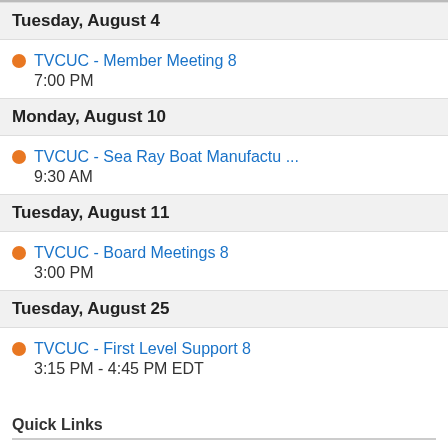Tuesday, August 4
TVCUC - Member Meeting 8
7:00 PM
Monday, August 10
TVCUC - Sea Ray Boat Manufactu ...
9:30 AM
Tuesday, August 11
TVCUC - Board Meetings 8
3:00 PM
Tuesday, August 25
TVCUC - First Level Support 8
3:15 PM - 4:45 PM EDT
Quick Links